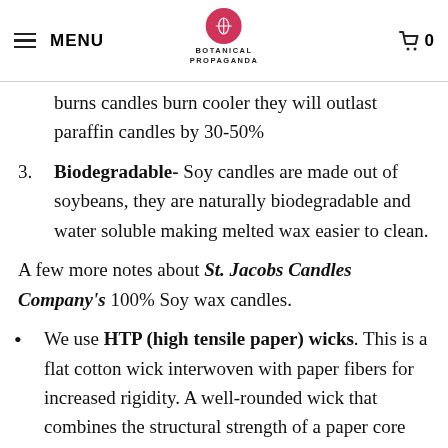MENU | BOTANICAL PROPAGANDA | 0
burns candles burn cooler they will outlast paraffin candles by 30-50%
3. Biodegradable- Soy candles are made out of soybeans, they are naturally biodegradable and water soluble making melted wax easier to clean.
A few more notes about St. Jacobs Candles Company's 100% Soy wax candles.
We use HTP (high tensile paper) wicks. This is a flat cotton wick interwoven with paper fibers for increased rigidity. A well-rounded wick that combines the structural strength of a paper core wick with the performance and even